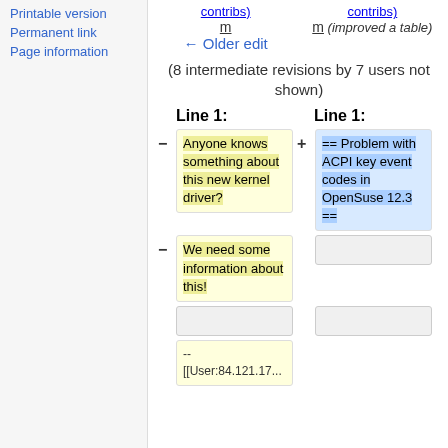Printable version
Permanent link
Page information
contribs)  m  ← Older edit
contribs)  m (improved a table)
(8 intermediate revisions by 7 users not shown)
Line 1:  Line 1:
− Anyone knows something about this new kernel driver?  + == Problem with ACPI key event codes in OpenSuse 12.3 ==
− We need some information about this!